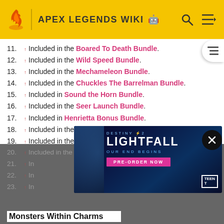APEX LEGENDS WIKI
11. ↑ Included in the Boared To Death Bundle.
12. ↑ Included in the Wild Speed Bundle.
13. ↑ Included in the Mechameleon Bundle.
14. ↑ Included in the Chuckles The Barrelman Bundle.
15. ↑ Included in Sound the Horn Bundle.
16. ↑ Included in the Seer Launch Bundle.
17. ↑ Included in Henrietta Bonus Bundle.
18. ↑ Included in the 150-Pack Bundle.
19. ↑ Included in the Legendary Pack Bundle.
20. ↑ Included in the 50-Pack Bundle.
21. ↑ Included in ...
22. ↑ Included in ...
23. ↑ Included in ...
[Figure (screenshot): Destiny 2 Lightfall advertisement banner with PRE-ORDER NOW button]
Monsters Within Charms